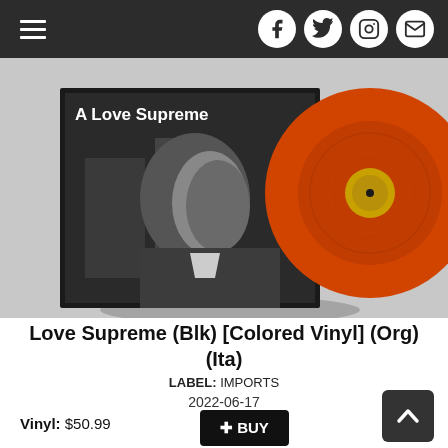Navigation bar with hamburger menu and social icons (Facebook, Twitter, Instagram, Email)
[Figure (photo): Album cover and orange vinyl record for 'A Love Supreme' showing a black-and-white portrait of a man in profile on the album sleeve, with a bright orange vinyl record visible to the right, on a light gray background.]
Love Supreme (Blk) [Colored Vinyl] (Org) (Ita)
LABEL: IMPORTS
2022-06-17
Vinyl: $50.99
+ BUY